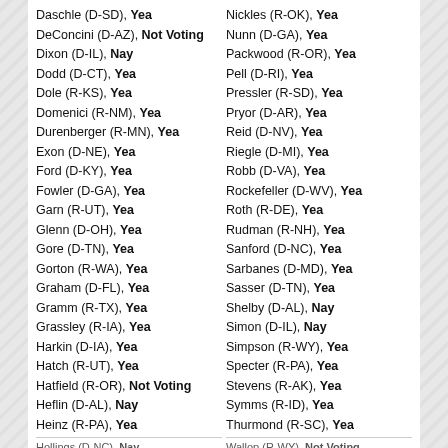Daschle (D-SD), Yea
DeConcini (D-AZ), Not Voting
Dixon (D-IL), Nay
Dodd (D-CT), Yea
Dole (R-KS), Yea
Domenici (R-NM), Yea
Durenberger (R-MN), Yea
Exon (D-NE), Yea
Ford (D-KY), Yea
Fowler (D-GA), Yea
Garn (R-UT), Yea
Glenn (D-OH), Yea
Gore (D-TN), Yea
Gorton (R-WA), Yea
Graham (D-FL), Yea
Gramm (R-TX), Yea
Grassley (R-IA), Yea
Harkin (D-IA), Yea
Hatch (R-UT), Yea
Hatfield (R-OR), Not Voting
Heflin (D-AL), Nay
Heinz (R-PA), Yea
Nickles (R-OK), Yea
Nunn (D-GA), Yea
Packwood (R-OR), Yea
Pell (D-RI), Yea
Pressler (R-SD), Yea
Pryor (D-AR), Yea
Reid (D-NV), Yea
Riegle (D-MI), Yea
Robb (D-VA), Yea
Rockefeller (D-WV), Yea
Roth (R-DE), Yea
Rudman (R-NH), Yea
Sanford (D-NC), Yea
Sarbanes (D-MD), Yea
Sasser (D-TN), Yea
Shelby (D-AL), Nay
Simon (D-IL), Nay
Simpson (R-WY), Yea
Specter (R-PA), Yea
Stevens (R-AK), Yea
Symms (R-ID), Yea
Thurmond (R-SC), Yea
Hollings (D-NC), Nay
Wallop (R-WY), Not Voting